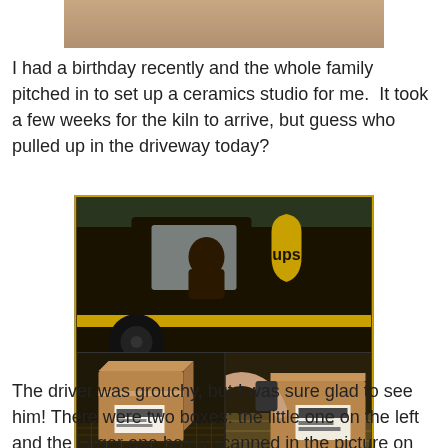[Figure (photo): Partial view of a furry or textured surface at the top of the page, cropped image]
I had a birthday recently and the whole family pitched in to set up a ceramics studio for me.  It took a few weeks for the kiln to arrive, but guess who pulled up in the driveway today?
[Figure (photo): Collage of three photos showing a UPS delivery truck. Top: side view of the dark brown UPS truck cab with the UPS logo (gold shield) and a driver visible through the window. Bottom-left: a cardboard box sitting on a metal mesh surface in the truck. Bottom-right: a person's arm scanning or handling a larger cardboard box inside the UPS truck.]
The driver was grouchy, but I was sure glad to see him!  There were two boxes: the little one on the left and the larger one being scanned in the picture on the right.  I opened the